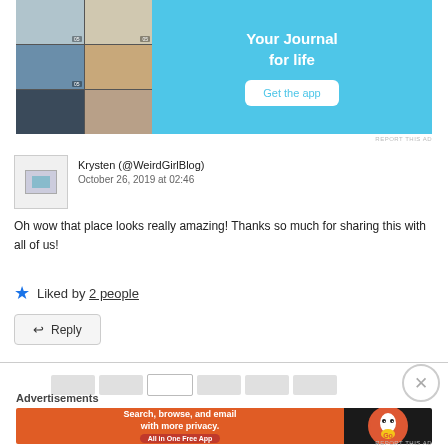[Figure (screenshot): Advertisement for a journal app showing phone screenshots and 'Your Journal for life' text with 'Get the app' button on blue background]
REPORT THIS AD
Krysten (@WeirdGirlBlog)
October 26, 2019 at 02:46
Oh wow that place looks really amazing! Thanks so much for sharing this with all of us!
Liked by 2 people
Reply
[Figure (screenshot): DuckDuckGo advertisement: 'Search, browse, and email with more privacy. All in One Free App' with DuckDuckGo logo]
REPORT THIS AD